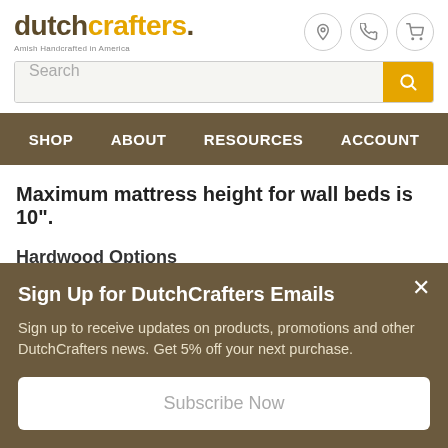[Figure (logo): DutchCrafters logo with tagline 'Amish Handcrafted in America']
Search
SHOP   ABOUT   RESOURCES   ACCOUNT
Maximum mattress height for wall beds is 10".
Hardwood Options
Sign Up for DutchCrafters Emails
Sign up to receive updates on products, promotions and other DutchCrafters news. Get 5% off your next purchase.
Subscribe Now